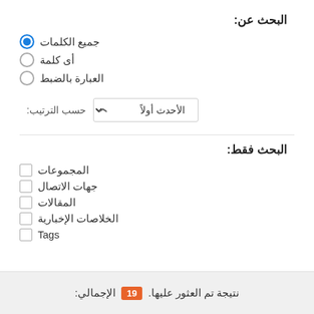البحث عن:
جميع الكلمات (selected)
أى كلمة
العبارة بالضبط
حسب الترتيب: الأحدث أولاً
البحث فقط:
المجموعات
جهات الاتصال
المقالات
الخلاصات الإخبارية
Tags
الإجمالي: 19 نتيجة تم العثور عليها.